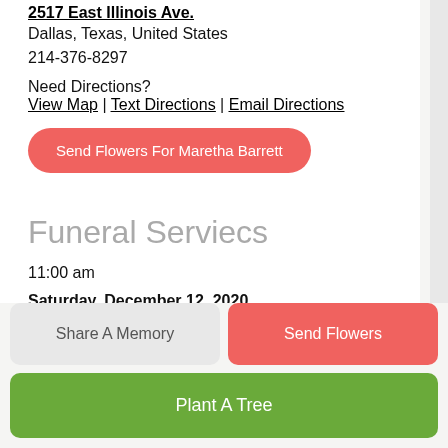2517 East Illinois Ave.
Dallas, Texas, United States
214-376-8297
Need Directions?
View Map | Text Directions | Email Directions
Send Flowers For Maretha Barrett
Funeral Serviecs
11:00 am
Saturday, December 12, 2020
Black & Clark Funeral Home
2517 East Illinois Ave.
Share A Memory
Send Flowers
Plant A Tree